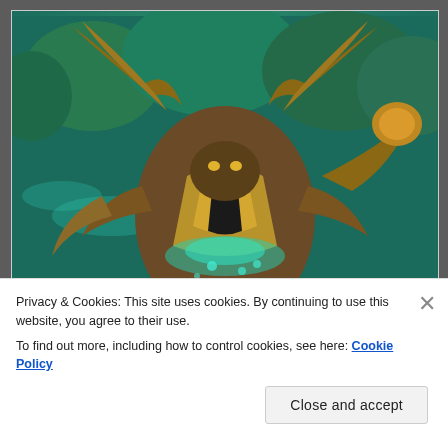[Figure (screenshot): World of Warcraft (or similar MMORPG) game screenshot showing a large armored creature or boss character with large curved horns/claws and golden armor with glowing teal accents, set against a lush green forest environment with teal lighting effects.]
Privacy & Cookies: This site uses cookies. By continuing to use this website, you agree to their use.
To find out more, including how to control cookies, see here: Cookie Policy